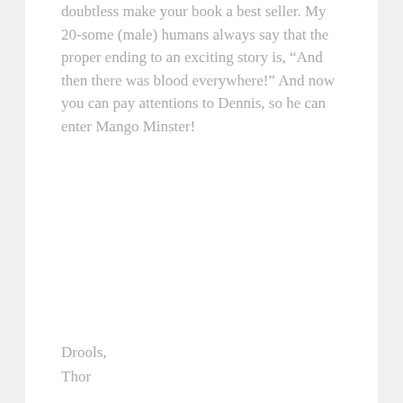doubtless make your book a best seller. My 20-some (male) humans always say that the proper ending to an exciting story is, “And then there was blood everywhere!” And now you can pay attentions to Dennis, so he can enter Mango Minster!
Drools,
Thor
★ Like
Reply
planetross
JANUARY 10, 2011 AT 7:54 PM